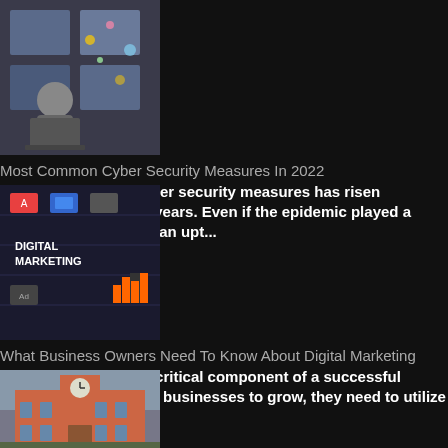[Figure (photo): Person working at laptop with flowers/confetti — cyber security theme]
Most Common Cyber Security Measures In 2022
The importance of cyber security measures has risen significantly over the years. Even if the epidemic played a remarkable role, such an upt...
[Figure (photo): Digital Marketing graphic with icons and bar charts]
What Business Owners Need To Know About Digital Marketing
Digital marketing is a critical component of a successful business strategy. For businesses to grow, they need to utilize digital marketing ...
[Figure (photo): Red brick academic building with clock tower — university/school]
How To Improve Your Educational Experience
Excellent education is essential to improving your career opportunities, earnings potential, knowledge, and quality of life. You want to fin